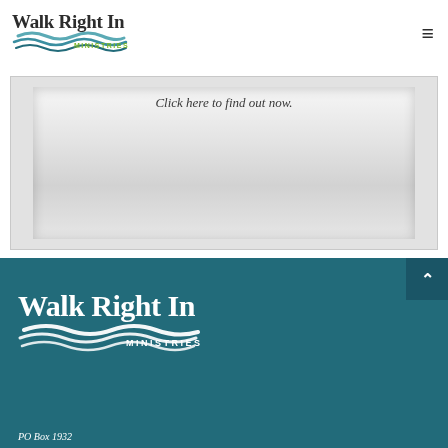Walk Right In Ministries
[Figure (screenshot): Partial banner/embed area with text 'Click here to find out now.' on a light gray gradient background with inset shadow]
[Figure (logo): Walk Right In Ministries logo in white on teal background with wave graphic]
PO Box 1932